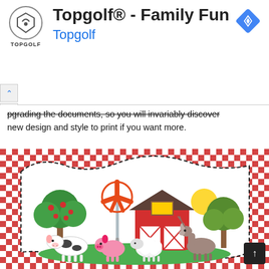[Figure (screenshot): Topgolf advertisement banner with logo, title 'Topgolf® - Family Fun', subtitle 'Topgolf', navigation icon, and ad controls (up arrow and X)]
upgrading the documents, so you will invariably discover new design and style to print if you want more.
[Figure (illustration): Farm scene illustration: red gingham checkered border background, white decorative label shape with dashed border outline, cartoon farm elements including red barn, windmill, apple tree, green tree, cow, pink pig, white sheep, horse/deer, sun, and green grass ground.]